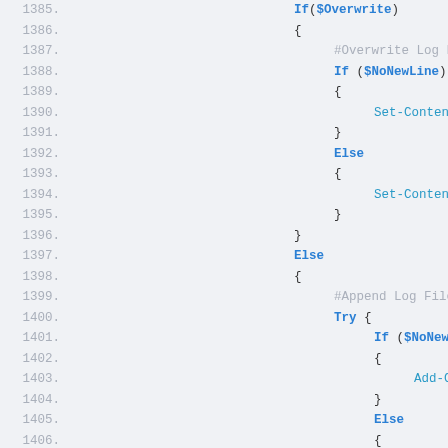[Figure (screenshot): PowerShell code snippet showing lines 1385-1412 with syntax highlighting. Line numbers in gray on left, keywords in bold blue, function names in lighter blue, comments in gray. Background is light gray. Code shows If/Else blocks handling $Overwrite and $NoNewLine conditions using Set-Content and Add-Content cmdlets, with a Try/Catch block for appending log files.]